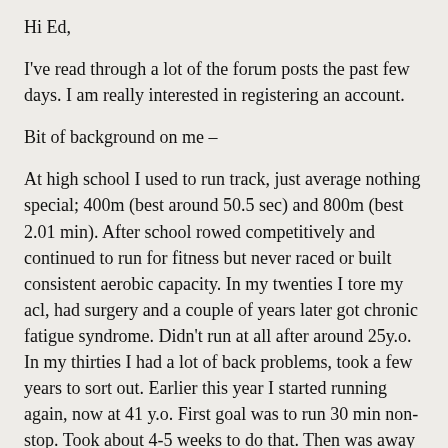Hi Ed,
I've read through a lot of the forum posts the past few days. I am really interested in registering an account.
Bit of background on me –
At high school I used to run track, just average nothing special; 400m (best around 50.5 sec) and 800m (best 2.01 min). After school rowed competitively and continued to run for fitness but never raced or built consistent aerobic capacity. In my twenties I tore my acl, had surgery and a couple of years later got chronic fatigue syndrome. Didn't run at all after around 25y.o. In my thirties I had a lot of back problems, took a few years to sort out. Earlier this year I started running again, now at 41 y.o. First goal was to run 30 min non-stop. Took about 4-5 weeks to do that. Then was away on a trip for 6 weeks, no running. Came back in August and started again. After 4 weeks of training entered a local 10km race, ran last Sunday 14/9/14. My time was 45:30. My goal is to go sub 40 min – should I try the sub 45 min program first, or start right into the